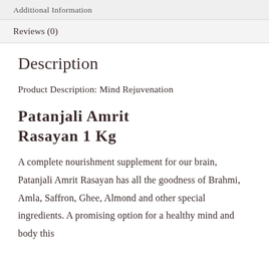Additional Information
Reviews (0)
Description
Product Description: Mind Rejuvenation
Patanjali Amrit Rasayan 1 Kg
A complete nourishment supplement for our brain, Patanjali Amrit Rasayan has all the goodness of Brahmi, Amla, Saffron, Ghee, Almond and other special ingredients. A promising option for a healthy mind and body this